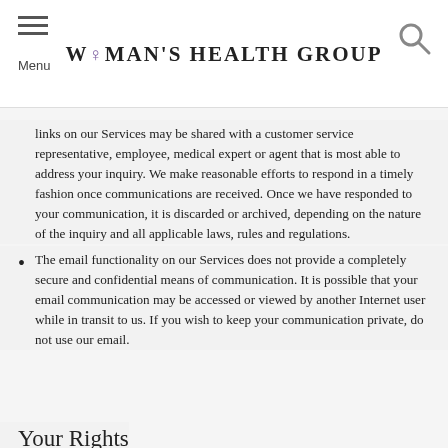Menu | Woman's Health Group
links on our Services may be shared with a customer service representative, employee, medical expert or agent that is most able to address your inquiry. We make reasonable efforts to respond in a timely fashion once communications are received. Once we have responded to your communication, it is discarded or archived, depending on the nature of the inquiry and all applicable laws, rules and regulations.
The email functionality on our Services does not provide a completely secure and confidential means of communication. It is possible that your email communication may be accessed or viewed by another Internet user while in transit to us. If you wish to keep your communication private, do not use our email.
Your Rights